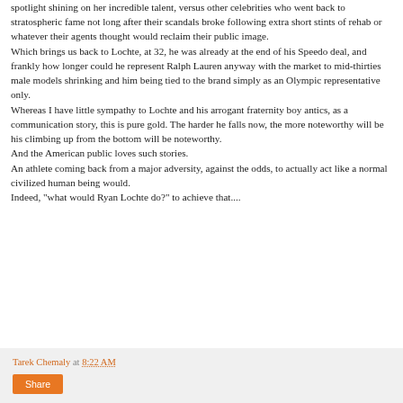spotlight shining on her incredible talent, versus other celebrities who went back to stratospheric fame not long after their scandals broke following extra short stints of rehab or whatever their agents thought would reclaim their public image.
Which brings us back to Lochte, at 32, he was already at the end of his Speedo deal, and frankly how longer could he represent Ralph Lauren anyway with the market to mid-thirties male models shrinking and him being tied to the brand simply as an Olympic representative only.
Whereas I have little sympathy to Lochte and his arrogant fraternity boy antics, as a communication story, this is pure gold. The harder he falls now, the more noteworthy will be his climbing up from the bottom will be noteworthy.
And the American public loves such stories.
An athlete coming back from a major adversity, against the odds, to actually act like a normal civilized human being would.
Indeed, "what would Ryan Lochte do?" to achieve that....
Tarek Chemaly at 8:22 AM
Share